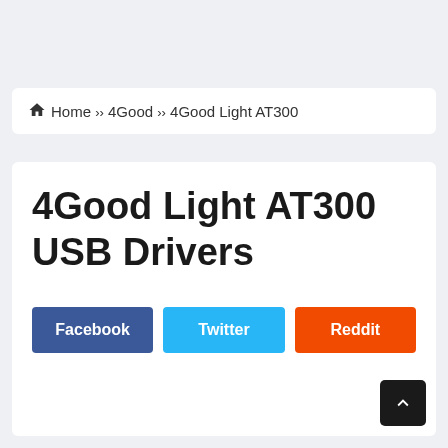Home › 4Good › 4Good Light AT300
4Good Light AT300 USB Drivers
Facebook
Twitter
Reddit